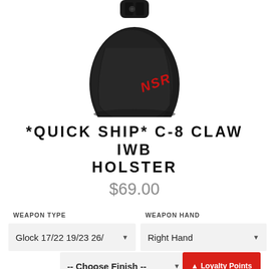[Figure (photo): Black NSR C-8 Claw IWB holster product photo on white background, showing holster with red NSR logo text]
*QUICK SHIP* C-8 CLAW IWB HOLSTER
$69.00
WEAPON TYPE
WEAPON HAND
Glock 17/22 19/23 26/
Right Hand
FINISH*
-- Choose Finish --
Loyalty Points